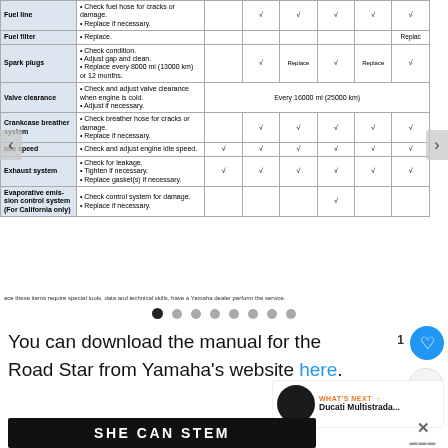| Item | Procedure |  |  |  |  |  |  |
| --- | --- | --- | --- | --- | --- | --- | --- |
| Fuel line | • Check fuel hose for cracks or damage.
• Replace if necessary. | √ | √ | √ | √ | √ |
| Fuel filter | • Replace. |  |  |  |  | Replace |
| Spark plugs | • Check condition.
• Adjust gap and clean.
• Replace every 8000 mi (13000 km) or 12 months. | √ | Replace | √ | Replace | √ |
| Valve clearance | • Check and adjust valve clearance when engine is cold.
• Adjust if necessary. | Every 16000 mi (25000 km) |
| Crankcase breather system | • Check breather hose for cracks or damage.
• Replace if necessary. | √ | √ | √ | √ | √ |
| Idle speed | • Check and adjust engine idle speed. | √ | √ | √ | √ | √ | √ |
| Exhaust system | • Check for leakage.
• Tighten if necessary.
• Replace gasket(s) if necessary. | √ | √ | √ | √ | √ |
| Evaporative emission control system (For California only) | • Check control system for damage.
• Replace if necessary. |  |  | √ |  |  |
ace these items require special tools, data and technical skills, have a Yamaha dealer perform the service.
You can download the manual for the Road Star from Yamaha's website here.